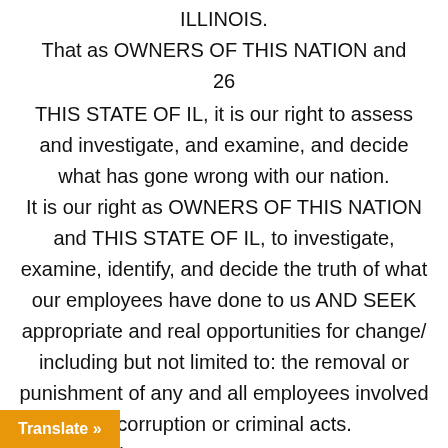ILLINOIS.
That as OWNERS OF THIS NATION and
26
THIS STATE OF IL, it is our right to assess and investigate, and examine, and decide what has gone wrong with our nation.
It is our right as OWNERS OF THIS NATION and THIS STATE OF IL, to investigate, examine, identify, and decide the truth of what our employees have done to us AND SEEK appropriate and real opportunities for change/ including but not limited to: the removal or punishment of any and all employees involved in corruption or criminal acts.
It is our right as OWNERS OF THIS NATION and THIS STATE OF IL; to a redress of